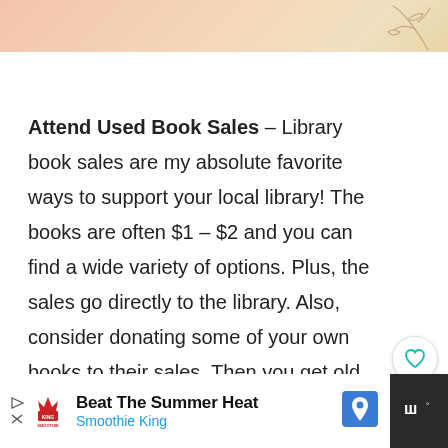[Figure (illustration): Decorative banner with peachy-cream gradient background and a botanical leaf line drawing in the top right corner]
Attend Used Book Sales – Library book sales are my absolute favorite ways to support your local library! The books are often $1 – $2 and you can find a wide variety of options. Plus, the sales go directly to the library. Also, consider donating some of your own books to their sales. Then you get old books or already read books out of the house.
[Figure (screenshot): Advertisement bar at bottom: Beat The Summer Heat - Smoothie King ad with logo, map pin icon, and media controls icon on dark background]